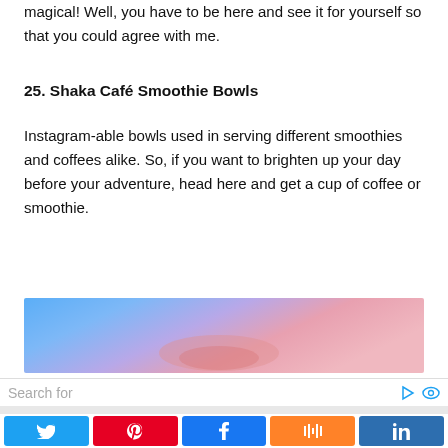magical! Well, you have to be here and see it for yourself so that you could agree with me.
25. Shaka Café Smoothie Bowls
Instagram-able bowls used in serving different smoothies and coffees alike. So, if you want to brighten up your day before your adventure, head here and get a cup of coffee or smoothie.
[Figure (photo): A colorful blurred sunset sky photo strip showing blue, purple, pink, and orange gradient hues.]
Search for
[Figure (other): Social sharing buttons: Twitter (blue), Pinterest (red), Facebook (blue), Mix (orange), LinkedIn (dark blue).]